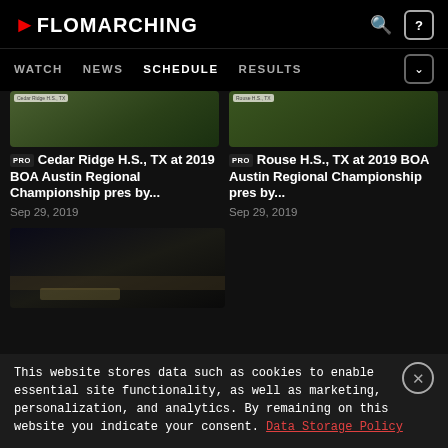FloMarching
[Figure (screenshot): Thumbnail image of marching band on football field, Cedar Ridge H.S., TX]
PRO Cedar Ridge H.S., TX at 2019 BOA Austin Regional Championship pres by...
Sep 29, 2019
[Figure (screenshot): Thumbnail image of marching band on football field, Rouse H.S., TX]
PRO Rouse H.S., TX at 2019 BOA Austin Regional Championship pres by...
Sep 29, 2019
[Figure (screenshot): Thumbnail image of marching band on football field at night]
This website stores data such as cookies to enable essential site functionality, as well as marketing, personalization, and analytics. By remaining on this website you indicate your consent. Data Storage Policy